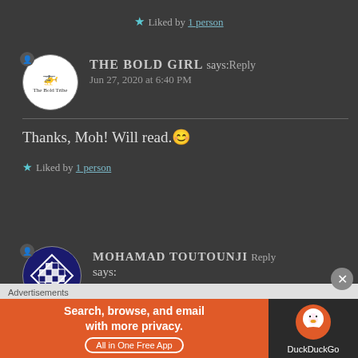★ Liked by 1 person
THE BOLD GIRL says: Reply
Jun 27, 2020 at 6:40 PM
Thanks, Moh! Will read.😊
★ Liked by 1 person
MOHAMAD TOUTOUNJI says: Reply